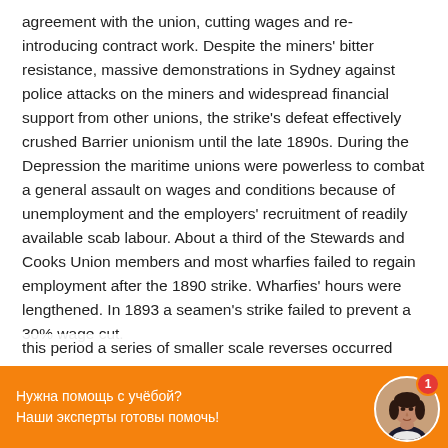agreement with the union, cutting wages and re-introducing contract work. Despite the miners' bitter resistance, massive demonstrations in Sydney against police attacks on the miners and widespread financial support from other unions, the strike's defeat effectively crushed Barrier unionism until the late 1890s. During the Depression the maritime unions were powerless to combat a general assault on wages and conditions because of unemployment and the employers' recruitment of readily available scab labour. About a third of the Stewards and Cooks Union members and most wharfies failed to regain employment after the 1890 strike. Wharfies' hours were lengthened. In 1893 a seamen's strike failed to prevent a 30% wage cut.
In 1894 NSW pastoralists reneged on their agreement, reducing wages and blacklisting union activists. The ASU lost the ensuing strike after even more violent...
this period a series of smaller scale reverses occurred
[Figure (other): Orange chat support bar with Russian text 'Нужна помощь с учёбой? Наши эксперты готовы помочь!' and a circular avatar photo of a woman with a red notification badge showing '1'.]